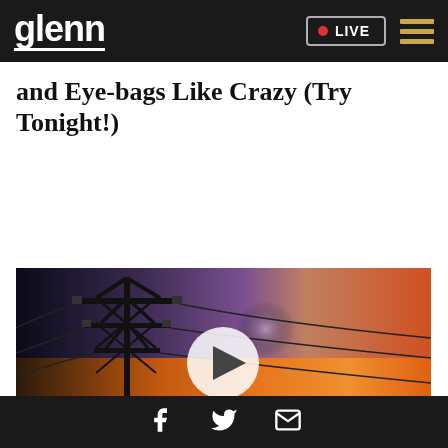glenn • LIVE
and Eye-bags Like Crazy (Try Tonight!)
[Figure (screenshot): Video thumbnail showing a power transmission tower silhouetted against a dramatic orange and blue sky, with a white circular play button overlay in the center]
Why You Need This Strange Device When The Grid Goes Down
Social icons: Facebook, Twitter, Email